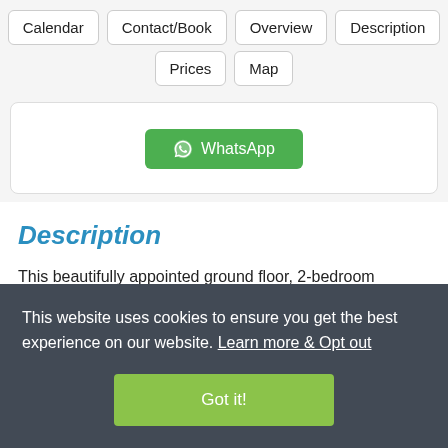Calendar
Contact/Book
Overview
Description
Prices
Map
[Figure (screenshot): WhatsApp contact button inside a white card]
Description
This beautifully appointed ground floor, 2-bedroom
This website uses cookies to ensure you get the best experience on our website. Learn more & Opt out
Got it!